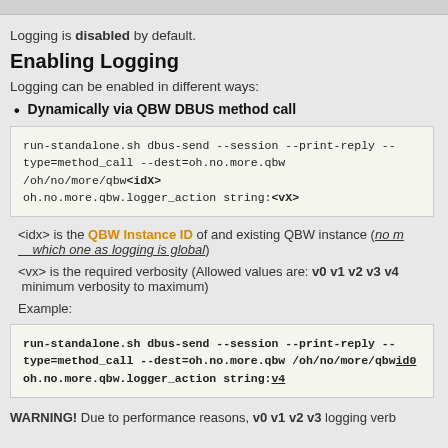Logging is disabled by default.
Enabling Logging
Logging can be enabled in different ways:
Dynamically via QBW DBUS method call
run-standalone.sh dbus-send --session --print-reply --type=method_call --dest=oh.no.more.qbw /oh/no/more/qbw<idx> oh.no.more.qbw.logger_action string:<vx>
<idx> is the QBW Instance ID of and existing QBW instance (no matter which one as logging is global)
<vx> is the required verbosity (Allowed values are: v0 v1 v2 v3 v4 minimum verbosity to maximum)
Example:
run-standalone.sh dbus-send --session --print-reply --type=method_call --dest=oh.no.more.qbw /oh/no/more/qbwid0 oh.no.more.qbw.logger_action string:v4
WARNING! Due to performance reasons, v0 v1 v2 v3 logging verb